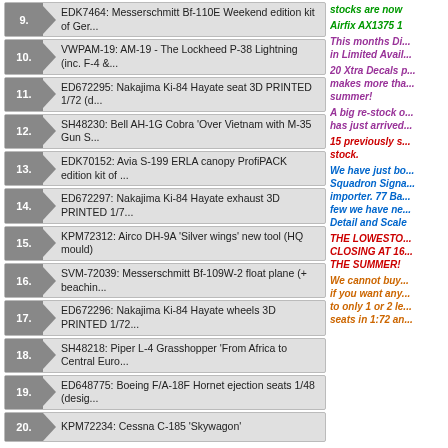9. EDK7464: Messerschmitt Bf-110E Weekend edition kit of Ger...
10. VWPAM-19: AM-19 - The Lockheed P-38 Lightning (inc. F-4 &...
11. ED672295: Nakajima Ki-84 Hayate seat 3D PRINTED 1/72 (d...
12. SH48230: Bell AH-1G Cobra 'Over Vietnam with M-35 Gun S...
13. EDK70152: Avia S-199 ERLA canopy ProfiPACK edition kit of ...
14. ED672297: Nakajima Ki-84 Hayate exhaust 3D PRINTED 1/7...
15. KPM72312: Airco DH-9A 'Silver wings' new tool (HQ mould)
16. SVM-72039: Messerschmitt Bf-109W-2 float plane (+ beachin...
17. ED672296: Nakajima Ki-84 Hayate wheels 3D PRINTED 1/72...
18. SH48218: Piper L-4 Grasshopper 'From Africa to Central Euro...
19. ED648775: Boeing F/A-18F Hornet ejection seats 1/48 (desig...
20. KPM72234: Cessna C-185 'Skywagon'
stocks are now
Airfix AX1375 1
This months Di... in Limited Avail...
20 Xtra Decals p... makes more tha... summer!
A big re-stock o... has just arrived...
15 previously s... stock.
We have just bo... Squadron Signa... importer. 77 Ba... few we have ne... Detail and Scale
THE LOWESTO... CLOSING AT 16... THE SUMMER!
We cannot buy... if you want any... to only 1 or 2 le... seats in 1:72 an...